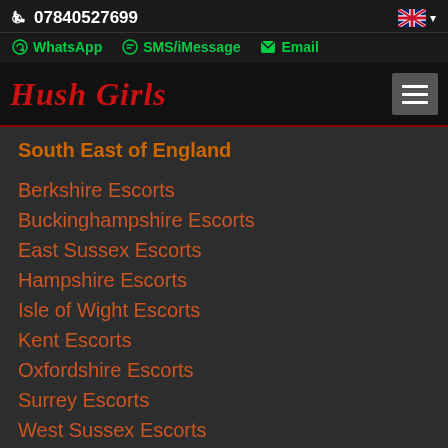07840527699
WhatsApp  SMS/iMessage  Email
Hush Girls
South East of England
Berkshire Escorts
Buckinghampshire Escorts
East Sussex Escorts
Hampshire Escorts
Isle of Wight Escorts
Kent Escorts
Oxfordshire Escorts
Surrey Escorts
West Sussex Escorts